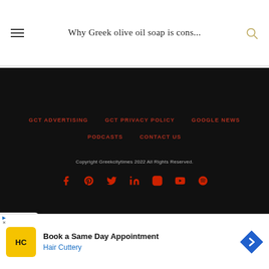Why Greek olive oil soap is cons...
GCT ADVERTISING   GCT PRIVACY POLICY   GOOGLE NEWS   PODCASTS   CONTACT US
Copyright Greekcitytimes 2022 All Rights Reserved.
[Figure (screenshot): Advertisement: Book a Same Day Appointment - Hair Cuttery, with HC logo and blue arrow icon]